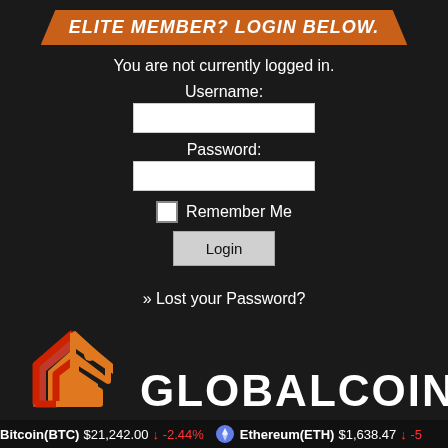ELITE MEMBER? LOGIN BELOW.
You are not currently logged in.
Username:
Password:
Remember Me
Login
» Lost your Password?
[Figure (logo): GlobalCoin logo — angular house/chevron shape in red-to-orange gradient with white text GLOBALCOIN]
Bitcoin(BTC) $21,242.00 ↓ -2.44%   Ethereum(ETH) $1,638.47 ↓ -5